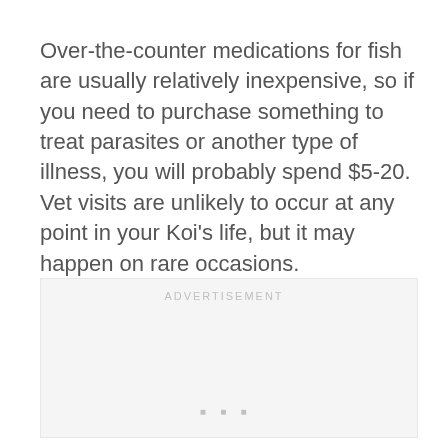Over-the-counter medications for fish are usually relatively inexpensive, so if you need to purchase something to treat parasites or another type of illness, you will probably spend $5-20. Vet visits are unlikely to occur at any point in your Koi's life, but it may happen on rare occasions.
[Figure (other): Advertisement placeholder box with 'ADVERTISEMENT' label text and three small dots at the bottom]